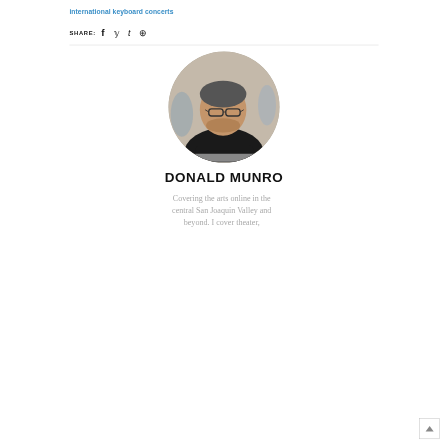international keyboard concerts
SHARE: f t ⊕
[Figure (photo): Circular portrait photo of Donald Munro, a middle-aged man with glasses and a beard, wearing a dark sweater, leaning over what appears to be sheet music or a keyboard]
DONALD MUNRO
Covering the arts online in the central San Joaquin Valley and beyond. I cover theater,